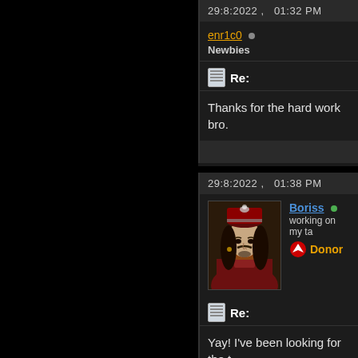29:8:2022 ,   01:32 PM
enr1c0 • Newbies
Re:
Thanks for the hard work bro.
29:8:2022 ,   01:38 PM
[Figure (photo): Avatar portrait of a person resembling Vlad the Impaler with ornate hat and long dark hair, wearing a red robe]
Boriss • working on my ta... • Donor
Re:
Yay! I've been looking for the t